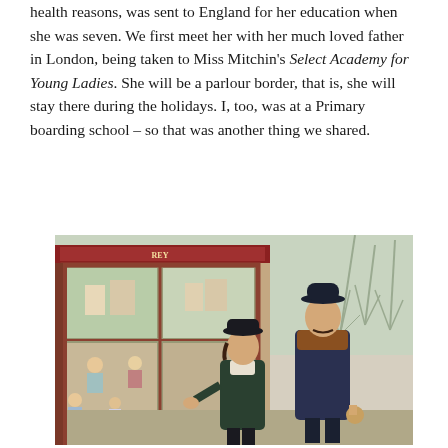health reasons, was sent to England for her education when she was seven. We first meet her with her much loved father in London, being taken to Miss Mitchin's Select Academy for Young Ladies. She will be a parlour border, that is, she will stay there during the holidays. I, too, was at a Primary boarding school – so that was another thing we shared.
[Figure (illustration): A period illustration showing a young girl in a dark coat and hat with a man in a bowler hat and overcoat, standing outside what appears to be a shop with a large display window. The scene appears to be set in Victorian/Edwardian era London. Various figures including children are visible near the shop front.]